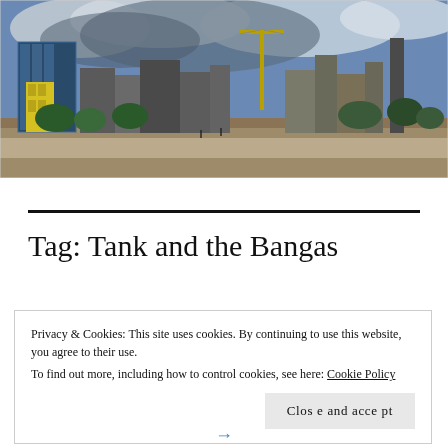[Figure (photo): Panoramic cityscape photo showing urban skyline with modern glass buildings, a construction crane, trees in the foreground, and a dramatic cloudy sky. One building is accented in yellow. The scene appears to be a midsize city downtown area.]
Tag: Tank and the Bangas
Privacy & Cookies: This site uses cookies. By continuing to use this website, you agree to their use.
To find out more, including how to control cookies, see here: Cookie Policy
Close and accept